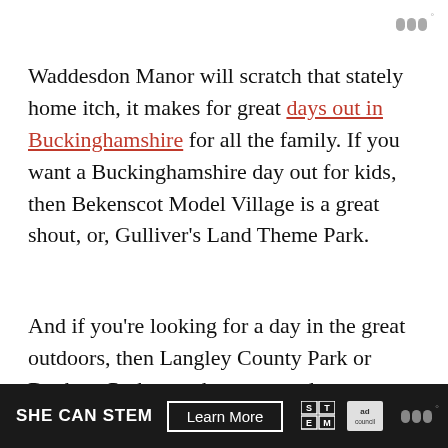ᵂ°
Waddesdon Manor will scratch that stately home itch, it makes for great days out in Buckinghamshire for all the family. If you want a Buckinghamshire day out for kids, then Bekenscot Model Village is a great shout, or, Gulliver's Land Theme Park.
And if you're looking for a day in the great outdoors, then Langley County Park or Denham Park are what you need.
SHE CAN STEM  Learn More  [ad council logo]